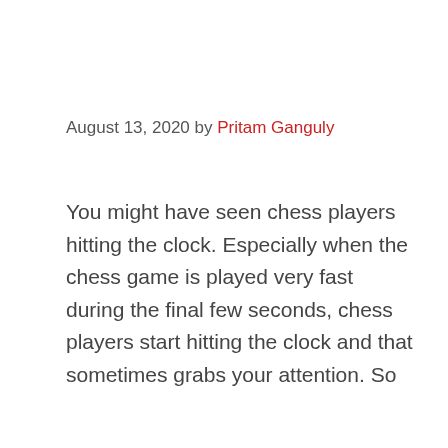August 13, 2020 by Pritam Ganguly
You might have seen chess players hitting the clock. Especially when the chess game is played very fast during the final few seconds, chess players start hitting the clock and that sometimes grabs your attention. So